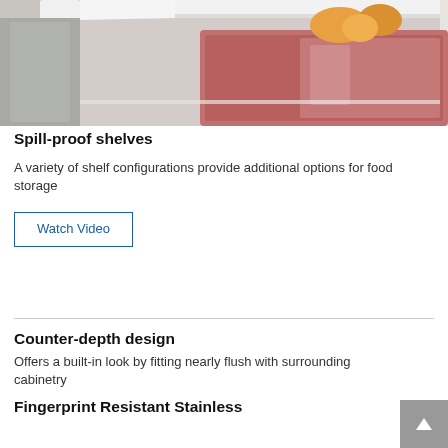[Figure (photo): Close-up photo of refrigerator interior showing spill-proof shelves with food items including meat in a plastic container and yellow/orange food items visible]
Spill-proof shelves
A variety of shelf configurations provide additional options for food storage
Watch Video
Counter-depth design
Offers a built-in look by fitting nearly flush with surrounding cabinetry
Fingerprint Resistant Stainless